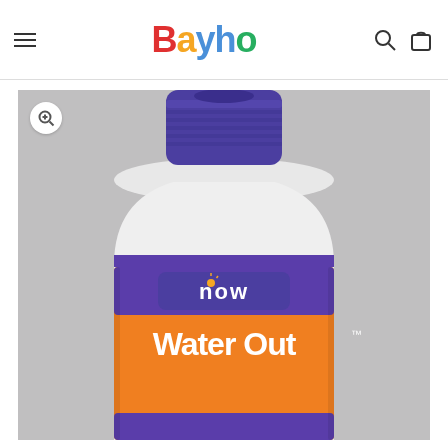Bayho
[Figure (photo): Close-up photo of a NOW Foods 'Water Out' supplement bottle with a white body, purple cap, orange and purple label showing the NOW logo and 'Water Out' text.]